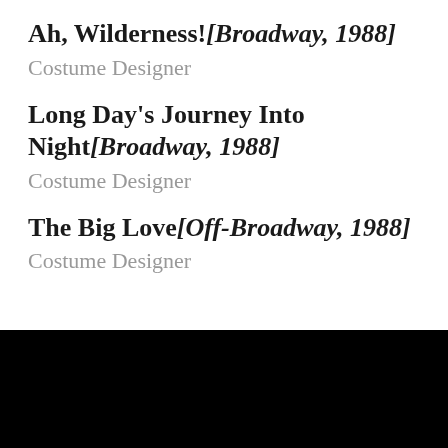Ah, Wilderness![Broadway, 1988]
Costume Designer
Long Day's Journey Into Night[Broadway, 1988]
Costume Designer
The Big Love[Off-Broadway, 1988]
Costume Designer
Broadway Rewind: INTO THE WOODS Goes Into the Park